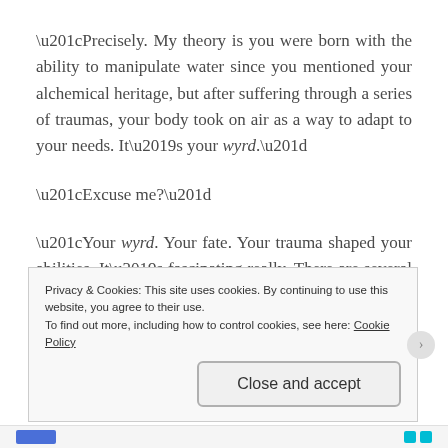“Precisely. My theory is you were born with the ability to manipulate water since you mentioned your alchemical heritage, but after suffering through a series of traumas, your body took on air as a way to adapt to your needs. It’s your wyrd.”
“Excuse me?”
“Your wyrd. Your fate. Your trauma shaped your abilities. It’s fascinating really. There are several known cases in ancient writings.”
Privacy & Cookies: This site uses cookies. By continuing to use this website, you agree to their use. To find out more, including how to control cookies, see here: Cookie Policy
Close and accept